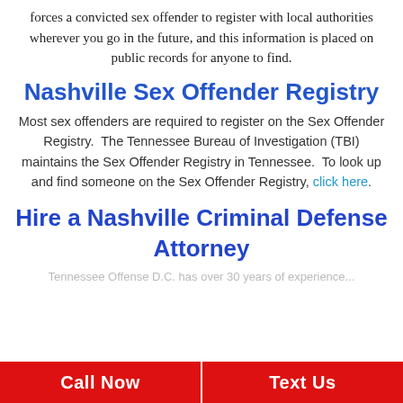forces a convicted sex offender to register with local authorities wherever you go in the future, and this information is placed on public records for anyone to find.
Nashville Sex Offender Registry
Most sex offenders are required to register on the Sex Offender Registry.  The Tennessee Bureau of Investigation (TBI) maintains the Sex Offender Registry in Tennessee.  To look up and find someone on the Sex Offender Registry, click here.
Hire a Nashville Criminal Defense Attorney
Tennessee Offense D.C. has over 30 years of experience...
Call Now   Text Us